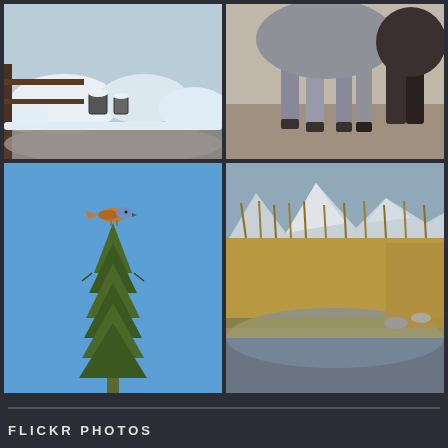[Figure (photo): Snow-covered scene with fence and buckets outdoors in winter]
[Figure (photo): Close-up of horse legs and body, grey and dark horses standing together]
[Figure (photo): American kestrel perched on top of a pine tree against bright blue sky]
[Figure (photo): Wetland landscape with golden reeds and marsh grass, snow-capped mountains in background]
FLICKR PHOTOS
[Figure (photo): Fluffy white/golden bird, possibly an egret or similar, with ruffled feathers]
[Figure (photo): Red-winged blackbird perched on branch against green background]
[Figure (photo): Ground scene with twigs and natural debris]